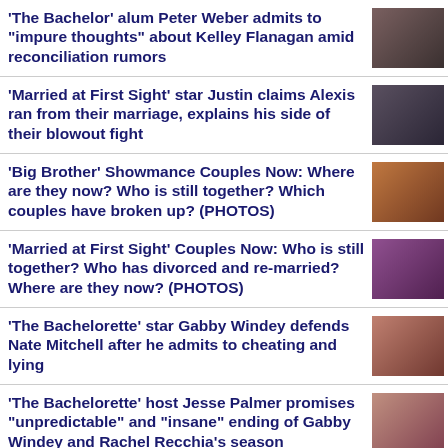'The Bachelor' alum Peter Weber admits to 'impure thoughts' about Kelley Flanagan amid reconciliation rumors
'Married at First Sight' star Justin claims Alexis ran from their marriage, explains his side of their blowout fight
'Big Brother' Showmance Couples Now: Where are they now? Who is still together? Which couples have broken up? (PHOTOS)
'Married at First Sight' Couples Now: Who is still together? Who has divorced and re-married? Where are they now? (PHOTOS)
'The Bachelorette' star Gabby Windey defends Nate Mitchell after he admits to cheating and lying
'The Bachelorette' host Jesse Palmer promises "unpredictable" and "insane" ending of Gabby Windey and Rachel Recchia's season